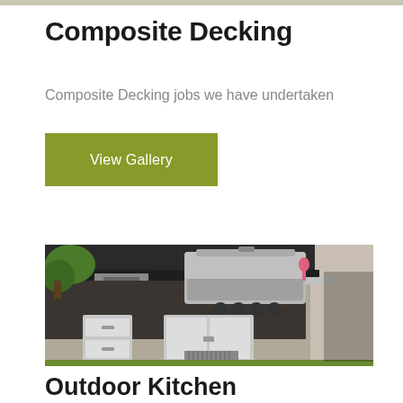Composite Decking
Composite Decking jobs we have undertaken
View Gallery
[Figure (photo): Outdoor kitchen with stainless steel BBQ grill, drawers, cabinet doors, sink area, and green plants against dark composite decking backdrop and brick wall]
Outdoor Kitchen
Outdoor Kitchen and full landscaping